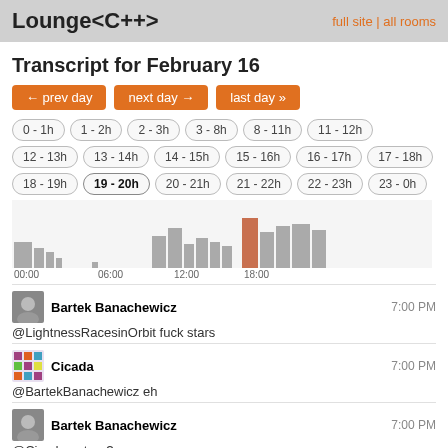Lounge<C++>  full site | all rooms
Transcript for February 16
← prev day   next day →   last day »
0 - 1h  1 - 2h  2 - 3h  3 - 8h  8 - 11h  11 - 12h  12 - 13h  13 - 14h  14 - 15h  15 - 16h  16 - 17h  17 - 18h  18 - 19h  19 - 20h  20 - 21h  21 - 22h  22 - 23h  23 - 0h
[Figure (bar-chart): Bar chart showing chat activity across the day with hours on x-axis. Bars mostly grey with one highlighted in orange/brown around 18:00.]
Bartek Banachewicz   7:00 PM
@LightnessRacesinOrbit fuck stars
Cicada   7:00 PM
@BartekBanachewicz eh
Bartek Banachewicz   7:00 PM
@Cicada untrue?
Cicada   7:00 PM
ubuntu's photo gallery is written in c#